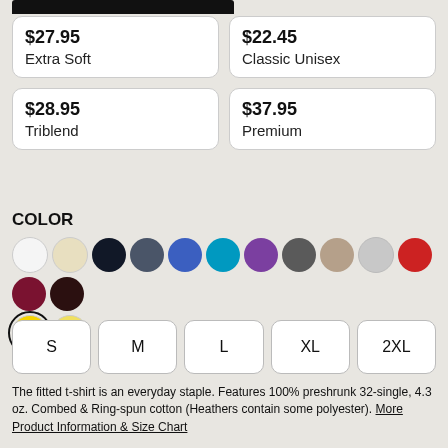$27.95 Extra Soft
$22.45 Classic Unisex
$28.95 Triblend
$37.95 Premium
COLOR
[Figure (other): Color swatches: white, cream, navy, slate, royal blue, teal, purple, dark gray, tan, light gray, red, maroon, dark brown, yellow (selected), light yellow]
S
M
L
XL
2XL
The fitted t-shirt is an everyday staple. Features 100% preshrunk 32-single, 4.3 oz. Combed & Ring-spun cotton (Heathers contain some polyester). More Product Information & Size Chart